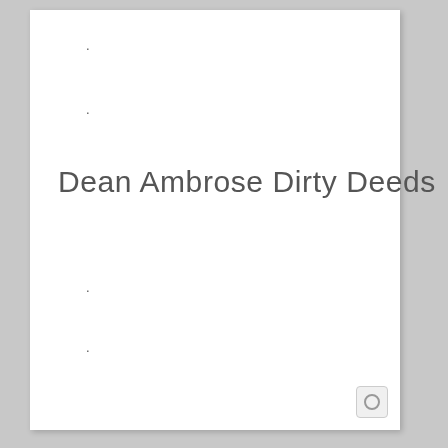.
.
Dean Ambrose Dirty Deeds
.
.